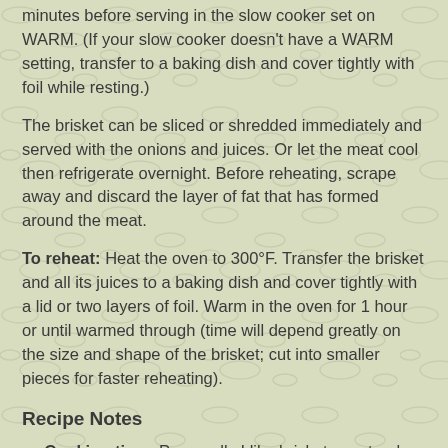minutes before serving in the slow cooker set on WARM. (If your slow cooker doesn't have a WARM setting, transfer to a baking dish and cover tightly with foil while resting.)
The brisket can be sliced or shredded immediately and served with the onions and juices. Or let the meat cool then refrigerate overnight. Before reheating, scrape away and discard the layer of fat that has formed around the meat.
To reheat: Heat the oven to 300°F. Transfer the brisket and all its juices to a baking dish and cover tightly with a lid or two layers of foil. Warm in the oven for 1 hour or until warmed through (time will depend greatly on the size and shape of the brisket; cut into smaller pieces for faster reheating).
Recipe Notes
Cooking time: Personally I like brisket very tender